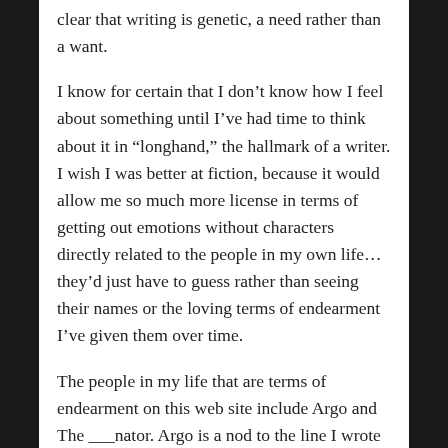clear that writing is genetic, a need rather than a want.
I know for certain that I don’t know how I feel about something until I’ve had time to think about it in “longhand,” the hallmark of a writer. I wish I was better at fiction, because it would allow me so much more license in terms of getting out emotions without characters directly related to the people in my own life… they’d just have to guess rather than seeing their names or the loving terms of endearment I’ve given them over time.
The people in my life that are terms of endearment on this web site include Argo and The ___nator. Argo is a nod to the line I wrote about her years ago, that I sleep deeply in the belly of the ship,